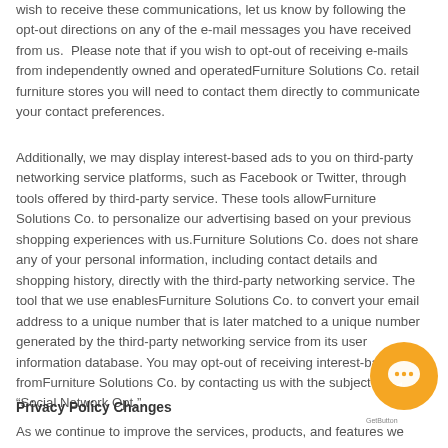wish to receive these communications, let us know by following the opt-out directions on any of the e-mail messages you have received from us.  Please note that if you wish to opt-out of receiving e-mails from independently owned and operatedFurniture Solutions Co. retail furniture stores you will need to contact them directly to communicate your contact preferences.
Additionally, we may display interest-based ads to you on third-party networking service platforms, such as Facebook or Twitter, through tools offered by third-party service. These tools allowFurniture Solutions Co. to personalize our advertising based on your previous shopping experiences with us.Furniture Solutions Co. does not share any of your personal information, including contact details and shopping history, directly with the third-party networking service. The tool that we use enablesFurniture Solutions Co. to convert your email address to a unique number that is later matched to a unique number generated by the third-party networking service from its user information database. You may opt-out of receiving interest-based ads fromFurniture Solutions Co. by contacting us with the subject line “Social Network Opt.”.
Privacy Policy Changes
As we continue to improve the services, products, and features we